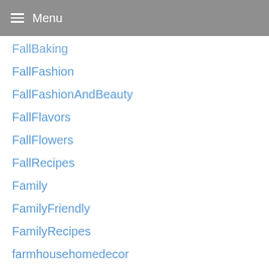Menu
FallBaking
FallFashion
FallFashionAndBeauty
FallFlavors
FallFlowers
FallRecipes
Family
FamilyFriendly
FamilyRecipes
farmhousehomedecor
fashion
FashionCollector
fashionista
FatQuarterProject
FatQuarterProjects
Feature
Featured